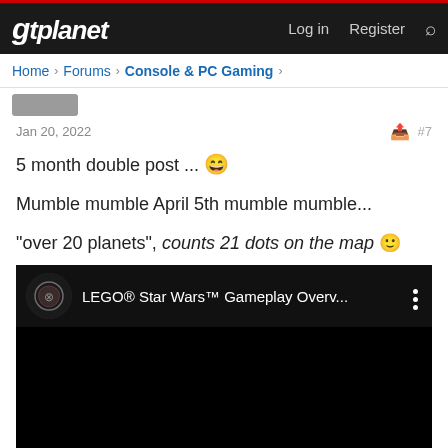gtplanet | Log in  Register
Home > Forums > Console & PC Gaming >
Jan 20, 2022  #7
5 month double post ... 😁
Mumble mumble April 5th mumble mumble...
"over 20 planets", counts 21 dots on the map 🙂
[Figure (screenshot): Embedded YouTube video thumbnail showing LEGO® Star Wars™ Gameplay Overv... with Xbox channel icon on black background]